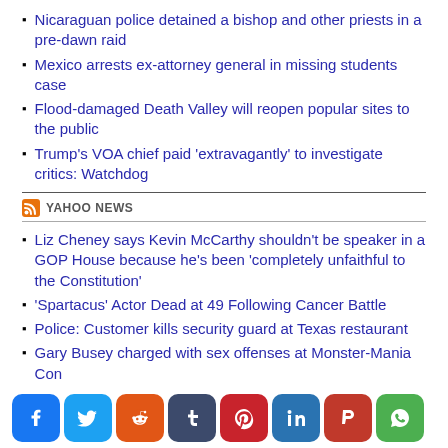Nicaraguan police detained a bishop and other priests in a pre-dawn raid
Mexico arrests ex-attorney general in missing students case
Flood-damaged Death Valley will reopen popular sites to the public
Trump's VOA chief paid 'extravagantly' to investigate critics: Watchdog
YAHOO NEWS
Liz Cheney says Kevin McCarthy shouldn't be speaker in a GOP House because he's been 'completely unfaithful to the Constitution'
'Spartacus' Actor Dead at 49 Following Cancer Battle
Police: Customer kills security guard at Texas restaurant
Gary Busey charged with sex offenses at Monster-Mania Con
[Figure (infographic): Social media share buttons: Facebook, Twitter, Reddit, Tumblr, Pinterest, LinkedIn, Parler, WhatsApp]